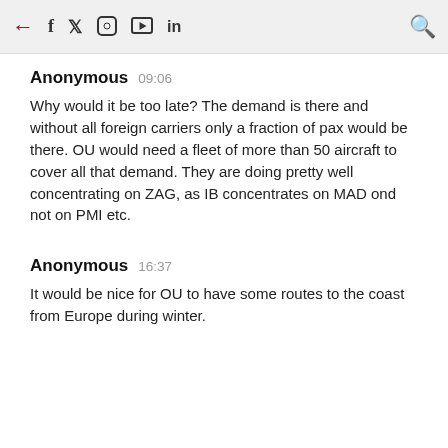← f  𝕏  ◻  ▶  in  🔍
Anonymous  09:06

Why would it be too late? The demand is there and without all foreign carriers only a fraction of pax would be there. OU would need a fleet of more than 50 aircraft to cover all that demand. They are doing pretty well concentrating on ZAG, as IB concentrates on MAD ond not on PMI etc.
Anonymous  16:37

It would be nice for OU to have some routes to the coast from Europe during winter.